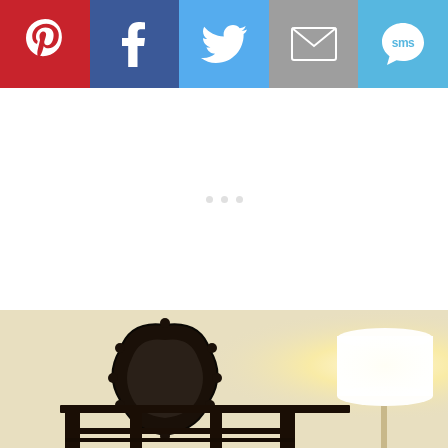[Figure (infographic): Social sharing bar with five buttons: Pinterest (red), Facebook (dark blue), Twitter (light blue), Email/envelope (gray), SMS (light blue) — each with white icon]
[Figure (photo): Interior room photo showing a dark ornate framed mirror on a beige wall, a dark wood console/sideboard furniture piece, and a white drum lamp shade on a floor lamp glowing warmly on the right side]